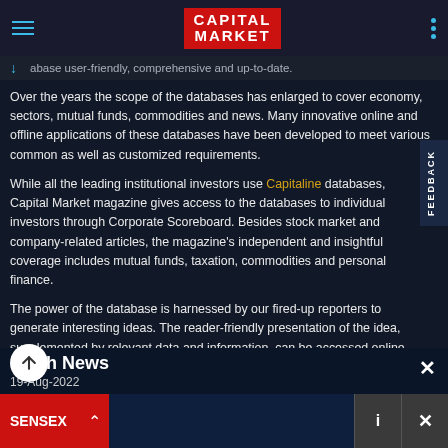CAPITAL MARKET
abase user-friendly, comprehensive and up-to-date.
Over the years the scope of the databases has enlarged to cover economy, sectors, mutual funds, commodities and news. Many innovative online and offline applications of these databases have been developed to meet various common as well as customized requirements.
While all the leading institutional investors use Capitaline databases, Capital Market magazine gives access to the databases to individual investors through Corporate Scoreboard. Besides stock market and company-related articles, the magazine's independent and insightful coverage includes mutual funds, taxation, commodities and personal finance.
The power of the database is harnessed by our fired-up reporters to generate interesting ideas. The reader-friendly presentation of the idea, supplemented by relevant data and information, can be accessed online through Capita lio and Telefolio Gold. These ideas are used by individual investors as institutional investors to do further research and stay ahead.
Flash News
19-Aug-2022
SENSEX